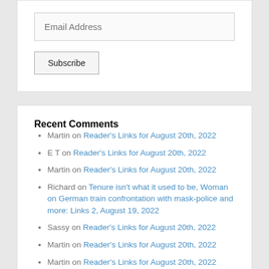Email Address
Subscribe
Recent Comments
Martin on Reader's Links for August 20th, 2022
E T on Reader's Links for August 20th, 2022
Martin on Reader's Links for August 20th, 2022
Richard on Tenure isn't what it used to be, Woman on German train confrontation with mask-police and more: Links 2, August 19, 2022
Sassy on Reader's Links for August 20th, 2022
Martin on Reader's Links for August 20th, 2022
Martin on Reader's Links for August 20th, 2022
Martin on Reader's Links for August 20th, 2022